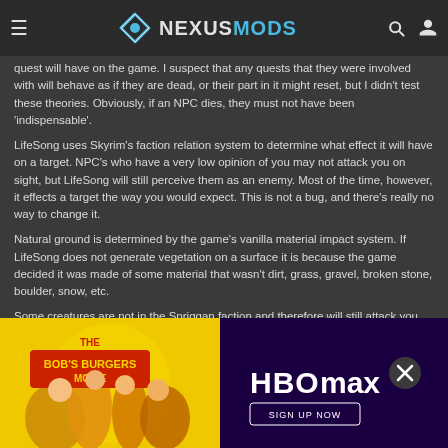NEXUSMODS
quest will have on the game. I suspect that any quests that they were involved with will behave as if they are dead, or their part in it might reset, but I didn't test these theories. Obviously, if an NPC dies, they must not have been 'indispensable'.
LifeSong uses Skyrim's faction relation system to determine what effect it will have on a target. NPC's who have a very low opinion of you may not attack you on sight, but LifeSong will still perceive them as an enemy. Most of the time, however, it effects a target the way you would expect. This is not a bug, and there's really no way to change it.
Natural ground is determined by the game's vanilla material impact system. If LifeSong does not generate vegetation on a surface it is because the game decided it was made of some material that wasn't dirt, grass, gravel, broken stone, boulder, snow, etc.
Some creatures are not in the Spriggan faction and therefore will still attack you... LifeSong in the mid... o stop attacking...
All of LifeS... Restoration... n of this
[Figure (photo): Advertisement: The Bob's Burgers Movie promotional image with yellow background]
[Figure (photo): Advertisement: HBO Max sign up now promotional banner with purple background]